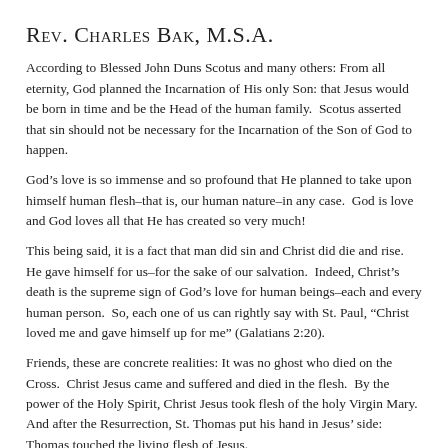Rev. Charles Bak, M.S.A.
According to Blessed John Duns Scotus and many others: From all eternity, God planned the Incarnation of His only Son: that Jesus would be born in time and be the Head of the human family.  Scotus asserted that sin should not be necessary for the Incarnation of the Son of God to happen.
God’s love is so immense and so profound that He planned to take upon himself human flesh–that is, our human nature–in any case.  God is love and God loves all that He has created so very much!
This being said, it is a fact that man did sin and Christ did die and rise.  He gave himself for us–for the sake of our salvation.  Indeed, Christ’s death is the supreme sign of God’s love for human beings–each and every human person.  So, each one of us can rightly say with St. Paul, “Christ loved me and gave himself up for me” (Galatians 2:20).
Friends, these are concrete realities: It was no ghost who died on the Cross.  Christ Jesus came and suffered and died in the flesh.  By the power of the Holy Spirit, Christ Jesus took flesh of the holy Virgin Mary.  And after the Resurrection, St. Thomas put his hand in Jesus’ side: Thomas touched the living flesh of Jesus.
Jesus really suffered, died, and rose for us.  His love is real and concrete.  In case we forget this, Pope Francis reminds us: “The Word was made flesh; it is not made an idea” (https://zenit.org/articles/popes-morning-homily-concrete-faith-not-